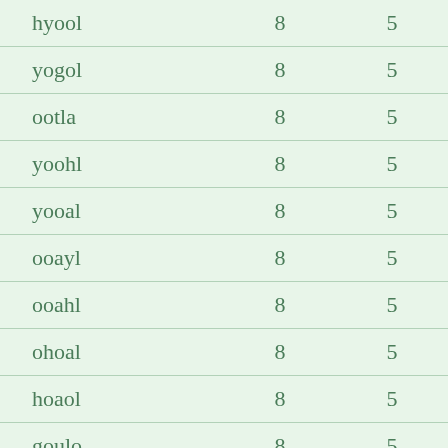| hyool | 8 | 5 |
| yogol | 8 | 5 |
| ootla | 8 | 5 |
| yoohl | 8 | 5 |
| yooal | 8 | 5 |
| ooayl | 8 | 5 |
| ooahl | 8 | 5 |
| ohoal | 8 | 5 |
| hoaol | 8 | 5 |
| goulo | 8 | 5 |